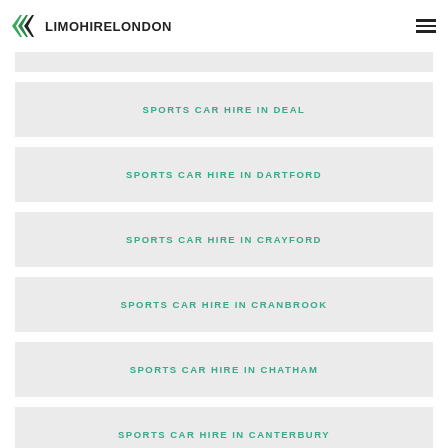LIMOHIRELONDON
SPORTS CAR HIRE IN DEAL
SPORTS CAR HIRE IN DARTFORD
SPORTS CAR HIRE IN CRAYFORD
SPORTS CAR HIRE IN CRANBROOK
SPORTS CAR HIRE IN CHATHAM
SPORTS CAR HIRE IN CANTERBURY
SPORTS CAR HIRE IN BROADSTAIRS